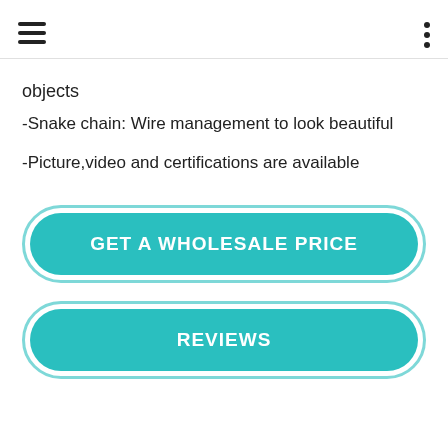[hamburger menu icon] [three-dot menu icon]
objects
-Snake chain: Wire management to look beautiful
-Picture,video and certifications are available
GET A WHOLESALE PRICE
REVIEWS